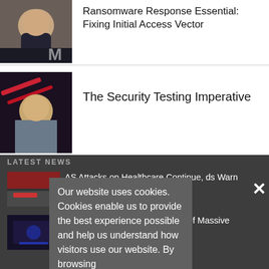[Figure (photo): Head and shoulders photo of a man in a dark suit, smiling, against a dark background with a letter M visible]
Ransomware Response Essential: Fixing Initial Access Vector
[Figure (photo): Head and shoulders photo of a man with beard in a grey suit against a dark background with red lighting]
The Security Testing Imperative
LATEST NEWS
Our website uses cookies. Cookies enable us to provide the best experience possible and help us understand how visitors use our website. By browsing bankinfosecurity.com, you agree to our use of cookies.
[Figure (photo): Thumbnail image with red and industrial elements related to healthcare attacks]
AS Attacks on Healthcare Continue, ds Warn of New Threats
[Figure (photo): Dark blue thumbnail image related to phishing]
Twilio and Cisco Breaches Part of Massive Phishing Campaign